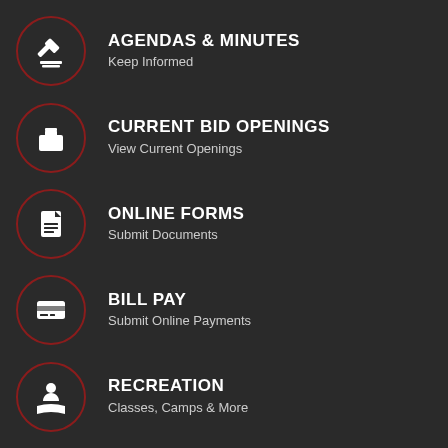AGENDAS & MINUTES
Keep Informed
CURRENT BID OPENINGS
View Current Openings
ONLINE FORMS
Submit Documents
BILL PAY
Submit Online Payments
RECREATION
Classes, Camps & More